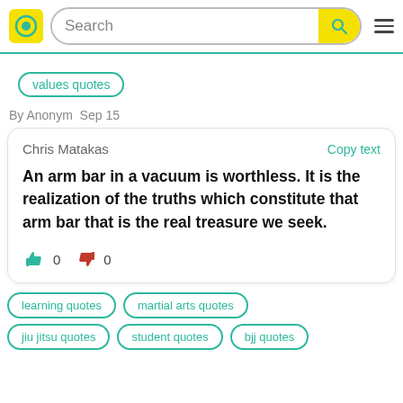[Figure (screenshot): Website header with yellow logo, search bar, and hamburger menu]
values quotes
By Anonym  Sep 15
Chris Matakas
Copy text
An arm bar in a vacuum is worthless. It is the realization of the truths which constitute that arm bar that is the real treasure we seek.
learning quotes
martial arts quotes
jiu jitsu quotes
student quotes
bjj quotes